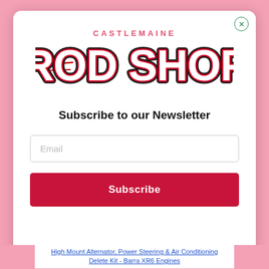[Figure (logo): Castlemaine Rod Shop logo with stylized graffiti-style text 'ROD SHOP' in white with red and black outline, speed lines, and 'CASTLEMAINE' in red arc above]
Subscribe to our Newsletter
Email
Subscribe
High Mount Alternator, Power Steering & Air Conditioning Delete Kit - Barra XR6 Engines